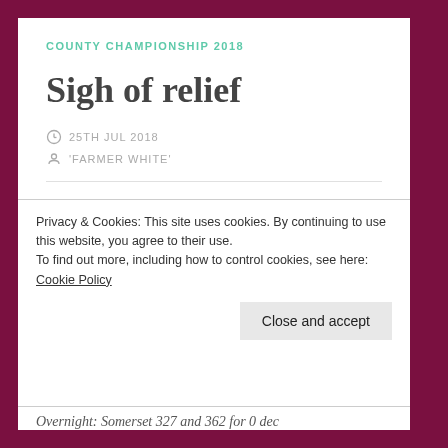COUNTY CHAMPIONSHIP 2018
Sigh of relief
25TH JUL 2018
'FARMER WHITE'
County Championship Division 1. Worcestershire v Somerset. 22nd, 23rd, 24th and 25th July 2018. Worcester. Final Day.
Privacy & Cookies: This site uses cookies. By continuing to use this website, you agree to their use.
To find out more, including how to control cookies, see here: Cookie Policy
Close and accept
Overnight: Somerset 327 and 362 for 0 dec